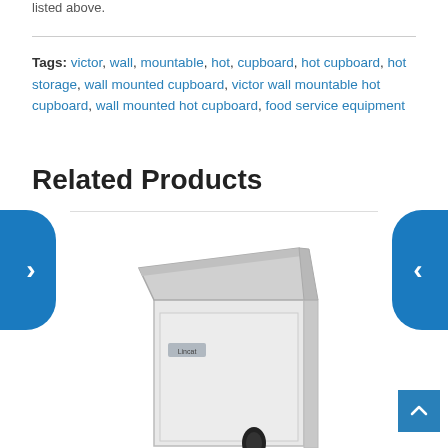listed above.
Tags: victor, wall, mountable, hot, cupboard, hot cupboard, hot storage, wall mounted cupboard, victor wall mountable hot cupboard, wall mounted hot cupboard, food service equipment
Related Products
[Figure (photo): Photo of a stainless steel wall mountable hot cupboard/cabinet with a black handle, shown in a product carousel with left and right navigation arrows.]